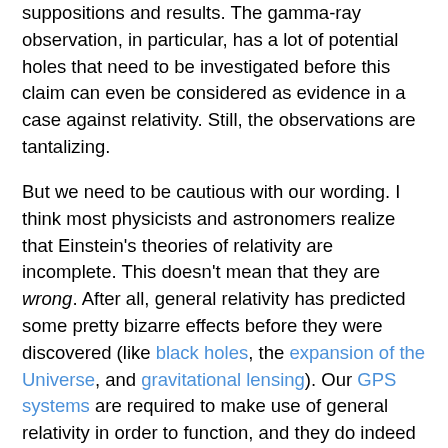suppositions and results. The gamma-ray observation, in particular, has a lot of potential holes that need to be investigated before this claim can even be considered as evidence in a case against relativity. Still, the observations are tantalizing.
But we need to be cautious with our wording. I think most physicists and astronomers realize that Einstein's theories of relativity are incomplete. This doesn't mean that they are wrong. After all, general relativity has predicted some pretty bizarre effects before they were discovered (like black holes, the expansion of the Universe, and gravitational lensing). Our GPS systems are required to make use of general relativity in order to function, and they do indeed function quite well. Any theory that can do all of this is not completely wrong.
Where Einstein's theories run into problems are on the subatomic level. Quantum mechanics, the physics involved on atomic scales, is incompatible with relativity on the smallest scales. For example, quantum mechanics says there is a fundamental length known as the Planck length, below which little or nothing can be known (this length is tiny